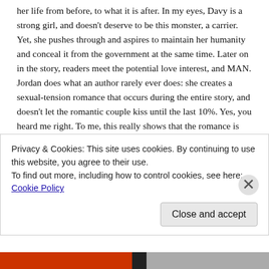her life from before, to what it is after. In my eyes, Davy is a strong girl, and doesn't deserve to be this monster, a carrier. Yet, she pushes through and aspires to maintain her humanity and conceal it from the government at the same time. Later on in the story, readers meet the potential love interest, and MAN. Jordan does what an author rarely ever does: she creates a sexual-tension romance that occurs during the entire story, and doesn't let the romantic couple kiss until the last 10%. Yes, you heard me right. To me, this really shows that the romance is genuine and real, developing over time. I swooned hard for this guy: strong, tough, mysterious, and yes, a bad-boy. It all sounds cliché now, but I honestly can't tell you what else made me swoon for him. He's just that remarkable.
Privacy & Cookies: This site uses cookies. By continuing to use this website, you agree to their use.
To find out more, including how to control cookies, see here: Cookie Policy
Close and accept